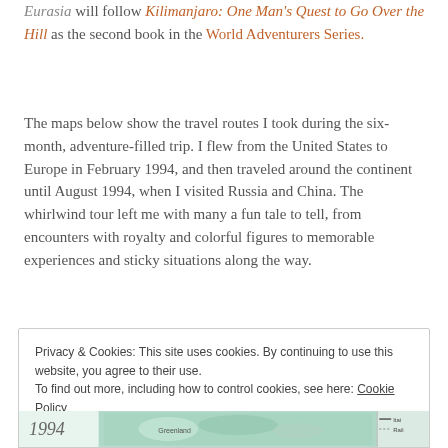Eurasia will follow Kilimanjaro: One Man's Quest to Go Over the Hill as the second book in the World Adventurers Series.
The maps below show the travel routes I took during the six-month, adventure-filled trip. I flew from the United States to Europe in February 1994, and then traveled around the continent until August 1994, when I visited Russia and China. The whirlwind tour left me with many a fun tale to tell, from encounters with royalty and colorful figures to memorable experiences and sticky situations along the way.
Privacy & Cookies: This site uses cookies. By continuing to use this website, you agree to their use. To find out more, including how to control cookies, see here: Cookie Policy
Close and accept
[Figure (map): Partial view of a 1994 travel map showing Europe and surrounding regions, with a legend strip on the right side.]